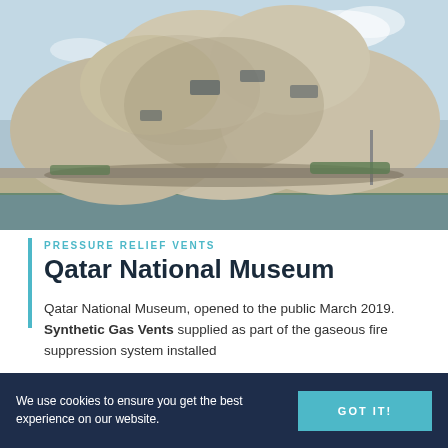[Figure (photo): Exterior photograph of the Qatar National Museum building, featuring distinctive interlocking disc-shaped concrete forms, with water in the foreground and a light blue sky above.]
PRESSURE RELIEF VENTS
Qatar National Museum
Qatar National Museum, opened to the public March 2019. Synthetic Gas Vents supplied as part of the gaseous fire suppression system installed
We use cookies to ensure you get the best experience on our website.   GOT IT!